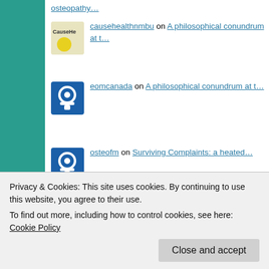osteopathy…
causehealthnmbu on A philosophical conundrum at t…
eomcanada on A philosophical conundrum at t…
osteofm on Surviving Complaints: a heated…
Advertising Alternative Medicine Anatomy APS Therapy Asthma Biopsychosocial Model biotensegrity
Privacy & Cookies: This site uses cookies. By continuing to use this website, you agree to their use. To find out more, including how to control cookies, see here: Cookie Policy Close and accept